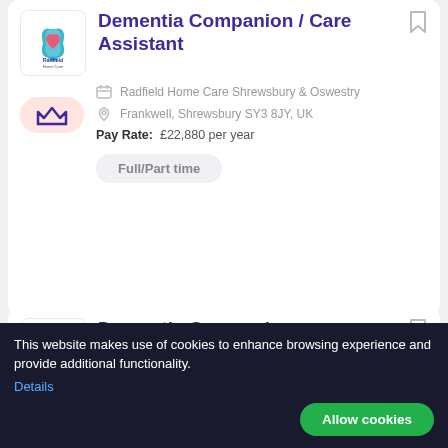[Figure (logo): Radfield Home Care logo — blue lotus flower with pink heart, text 'Radfield Home Care']
Dementia Companion / Care Assistant
[Figure (logo): Crown icon badge on pink/salmon background]
Radfield Home Care Shrewsbury & Oswestry
Frankwell, Shrewsbury SY3 8JY, UK
Pay Rate: £22,880 per year
Full/Part time
[Figure (logo): Radfield Home Care logo — blue lotus flower with pink heart, text 'Radfield Home Care']
Dementia Companion
[Figure (logo): Crown icon badge on pink/salmon background]
Radfield Home Care Shrewsbury & Oswestry
Frankwell, Shrewsbury SY3 8JY, UK
This website makes use of cookies to enhance browsing experience and provide additional functionality. Details
Allow cookies